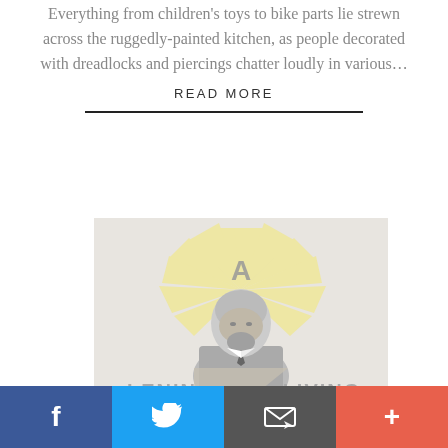Everything from children's toys to bike parts lie strewn across the ruggedly-painted kitchen, as people decorated with dreadlocks and piercings chatter loudly in various…
READ MORE
[Figure (illustration): Soviet-style propaganda poster illustration showing a silhouette bust of Lenin in gray tones with a yellow sunburst behind, text reading 'A LENIN LIVING' at bottom]
[Figure (infographic): Social media sharing bar with Facebook (blue), Twitter (light blue), email (dark gray), and plus/add (coral) buttons]